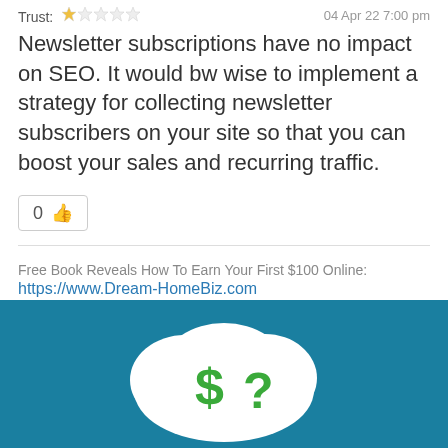Trust: ★☆☆☆☆  04 Apr 22 7:00 pm
Newsletter subscriptions have no impact on SEO. It would bw wise to implement a strategy for collecting newsletter subscribers on your site so that you can boost your sales and recurring traffic.
0 👍
Free Book Reveals How To Earn Your First $100 Online: https://www.Dream-HomeBiz.com
[Figure (illustration): Teal/blue banner with a white cloud shape containing a green dollar sign and green question mark]